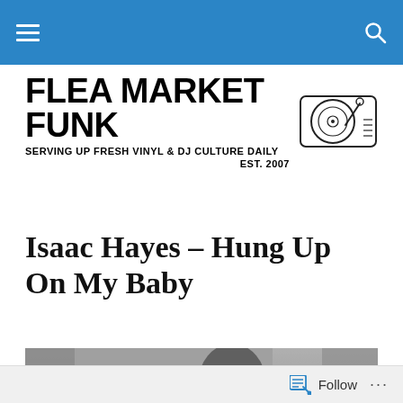Flea Market Funk – navigation bar
[Figure (logo): Flea Market Funk logo with record player illustration. Text: FLEA MARKET FUNK – SERVING UP FRESH VINYL & DJ CULTURE DAILY – EST. 2007]
Isaac Hayes – Hung Up On My Baby
[Figure (photo): Black and white photograph of Isaac Hayes wearing a white hat, with curtains and foliage in the background]
Follow ...